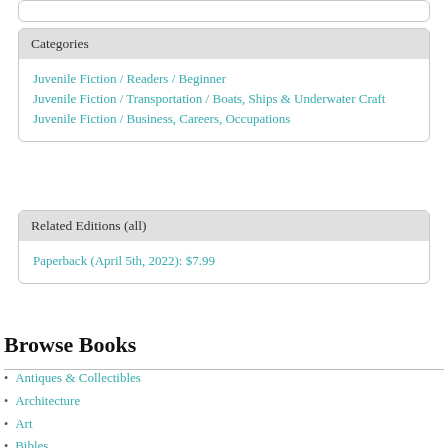Categories
Juvenile Fiction / Readers / Beginner
Juvenile Fiction / Transportation / Boats, Ships & Underwater Craft
Juvenile Fiction / Business, Careers, Occupations
Related Editions (all)
Paperback (April 5th, 2022): $7.99
Browse Books
Antiques & Collectibles
Architecture
Art
Bibles
Biography & Autobiography
Business & Economics